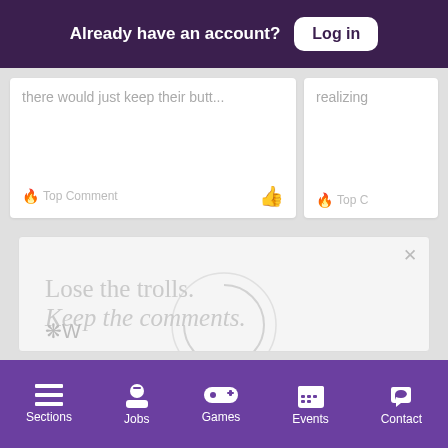Already have an account? Log in
there would just keep their butt...
realizing
🔥 Top Comment
🔥 Top C
[Figure (screenshot): Advertisement panel with text 'Lose the trolls. Keep the comments.' and tagline 'It's time to save online conversation.' with a Learn more button and circular graphic overlay]
Sections  Jobs  Games  Events  Contact